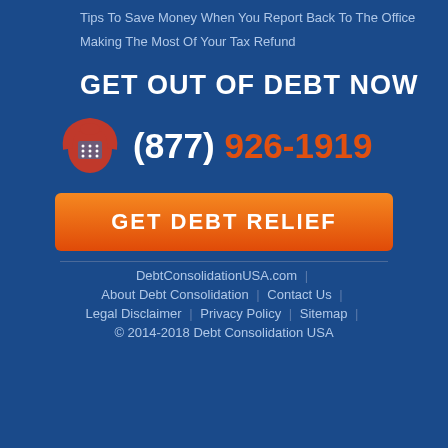Tips To Save Money When You Report Back To The Office
Making The Most Of Your Tax Refund
GET OUT OF DEBT NOW
(877) 926-1919
GET DEBT RELIEF
DebtConsolidationUSA.com | About Debt Consolidation | Contact Us | Legal Disclaimer | Privacy Policy | Sitemap | © 2014-2018 Debt Consolidation USA